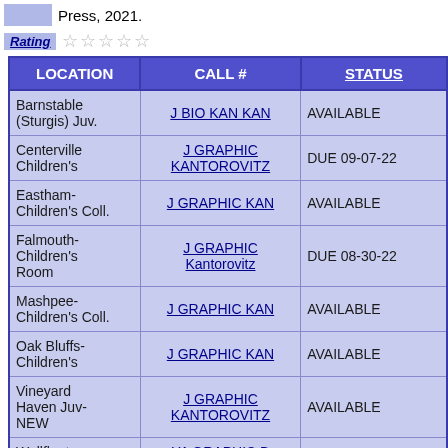Press, 2021.
Rating ☆☆☆☆☆
| LOCATION | CALL # | STATUS |
| --- | --- | --- |
| Barnstable (Sturgis) Juv. | J BIO KAN KAN | AVAILABLE |
| Centerville Children's | J GRAPHIC KANTOROVITZ | DUE 09-07-22 |
| Eastham-Children's Coll. | J GRAPHIC KAN | AVAILABLE |
| Falmouth-Children's Room | J GRAPHIC Kantorovitz | DUE 08-30-22 |
| Mashpee-Children's Coll. | J GRAPHIC KAN | AVAILABLE |
| Oak Bluffs-Children's | J GRAPHIC KAN | AVAILABLE |
| Vineyard Haven Juv-NEW | J GRAPHIC KANTOROVITZ | AVAILABLE |
| Wellfleet-Children's Area | YA GRAPHIC B Kantorovitz | AVAILABLE |
First editio...